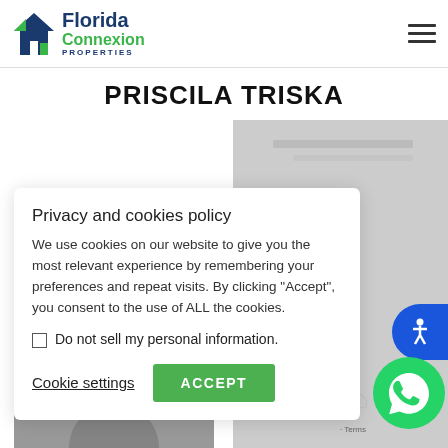Florida Connexion Properties
PRISCILA TRISKA
Privacy and cookies policy
We use cookies on our website to give you the most relevant experience by remembering your preferences and repeat visits. By clicking "Accept", you consent to the use of ALL the cookies.
Do not sell my personal information.
Cookie settings
ACCEPT